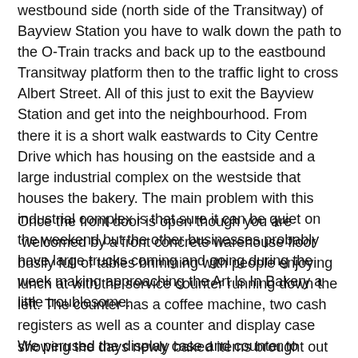westbound side (north side of the Transitway) of Bayview Station you have to walk down the path to the O-Train tracks and back up to the eastbound Transitway platform then to the traffic light to cross Albert Street.  All of this just to exit the Bayview Station and get into the neighbourhood.  From there it is a short walk eastwards to City Centre Drive which has housing on the eastside and a large industrial complex on the westside that houses the bakery.  The main problem with this industrial complex is that sure it can be quiet on the weekend but the other businesses probably have large trucks coming and going during the week making approaching the Art Is In Bakery a little troublesome.
Once the front door is open though you are  welcomed by a front concrete warehouse floor busily full of tables brimming with people enjoying lunch at with the service counter running down the left.  The counter has a coffee machine, two cash registers as well as a counter and display case showing the days newly baked items brought out from the back.
We perused the display case and counter to investigate what